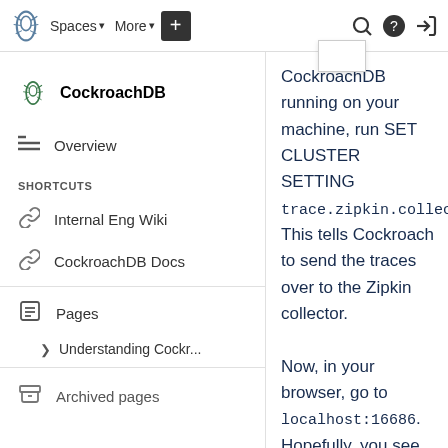Spaces | More | + | [search] [help] [login]
CockroachDB
Overview
SHORTCUTS
Internal Eng Wiki
CockroachDB Docs
Pages
> Understanding Cockr...
Archived pages
CockroachDB running on your machine, run SET CLUSTER SETTING trace.zipkin.collect This tells Cockroach to send the traces over to the Zipkin collector.

Now, in your browser, go to localhost:16686. Hopefully, you see an angry gopher. Under the 'service' dropdown, select 'cockroach'. If you do not see 'cockroach', this means you...